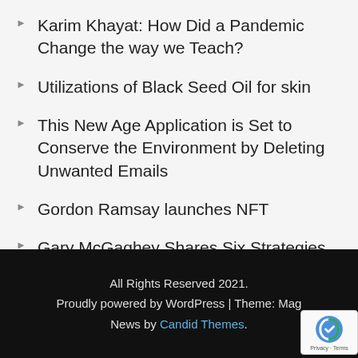Karim Khayat: How Did a Pandemic Change the way we Teach?
Utilizations of Black Seed Oil for skin
This New Age Application is Set to Conserve the Environment by Deleting Unwanted Emails
Gordon Ramsay launches NFT
Gary McGaghey Shares Six Strategies for Aspiring Private Equity CFOs?
All Rights Reserved 2021.
Proudly powered by WordPress | Theme: Magazine News by Candid Themes.
Privacy · Terms